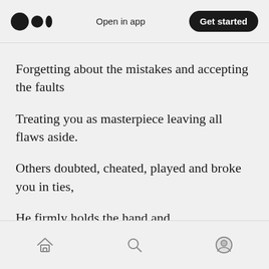Open in app | Get started
Forgetting about the mistakes and accepting the faults
Treating you as masterpiece leaving all flaws aside.
Others doubted, cheated, played and broke you in ties,
He firmly holds the hand and
trusted the innersight.
Home | Search | Profile